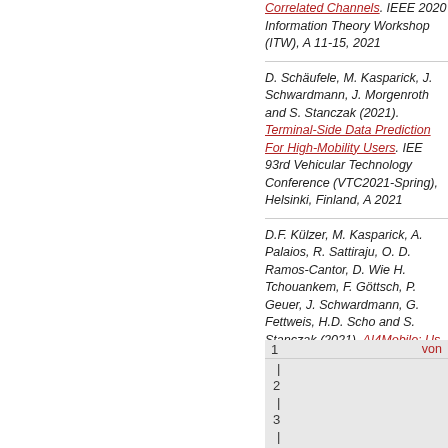Correlated Channels. IEEE 2020 Information Theory Workshop (ITW), A 11-15, 2021
D. Schäufele, M. Kasparick, J. Schwardmann, J. Morgenroth and S. Stanczak (2021). Terminal-Side Data Prediction For High-Mobility Users. IEE 93rd Vehicular Technology Conference (VTC2021-Spring), Helsinki, Finland, A 2021
D.F. Külzer, M. Kasparick, A. Palaios, R. Sattiraju, O. D. Ramos-Cantor, D. Wier H. Tchouankem, F. Göttsch, P. Geuer, J. Schwardmann, G. Fettweis, H.D. Scho and S. Stanczak (2021). AI4Mobile: Us Cases and Challenges of AI-based Qo Prediction for High-Mobility Scenarios. IEEE Vehicular Technology Conference (VTC Spring) 2021, April 25-28, in Hels Finland
| 1 | von |
| --- | --- |
| | |  |
| 2 |  |
| | |  |
| 3 |  |
| | |  |